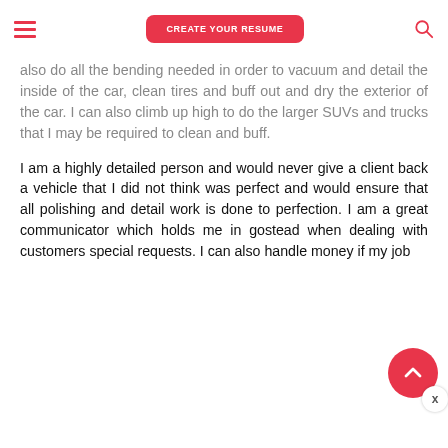CREATE YOUR RESUME
also do all the bending needed in order to vacuum and detail the inside of the car, clean tires and buff out and dry the exterior of the car. I can also climb up high to do the larger SUVs and trucks that I may be required to clean and buff.
I am a highly detailed person and would never give a client back a vehicle that I did not think was perfect and would ensure that all polishing and detail work is done to perfection. I am a great communicator which holds me in good stead when dealing with customers special requests. I can also handle money if my job